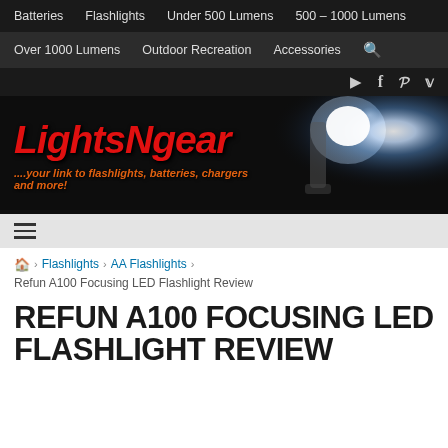Batteries  Flashlights  Under 500 Lumens  500 – 1000 Lumens
Over 1000 Lumens  Outdoor Recreation  Accessories  [search]
[YouTube] [Facebook] [Pinterest] [Twitter]
[Figure (illustration): LightsNgear website banner with red italic logo text 'LightsNgear' and orange tagline '....your link to flashlights, batteries, chargers and more!' on a dark background with a flashlight glow image on the right.]
≡ (hamburger menu icon)
🏠 › Flashlights › AA Flashlights › Refun A100 Focusing LED Flashlight Review
REFUN A100 FOCUSING LED FLASHLIGHT REVIEW